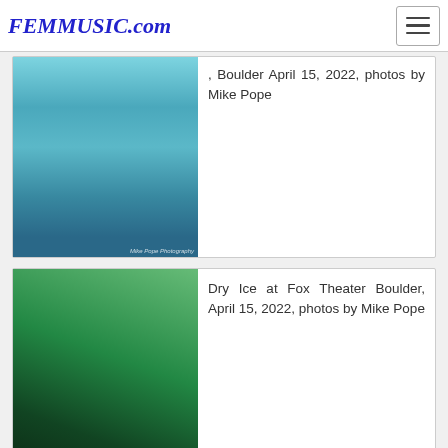FEMMUSIC.com
[Figure (photo): Concert photo of a performer in overalls at Fox Theater Boulder, April 15, 2022. Watermark: Mike Pope Photography.]
, Boulder April 15, 2022, photos by Mike Pope
[Figure (photo): Concert photo labeled Dry Ice at Fox Theater Boulder, April 15, 2022. Performer leaning forward on stage with microphone.]
Dry Ice at Fox Theater Boulder, April 15, 2022, photos by Mike Pope